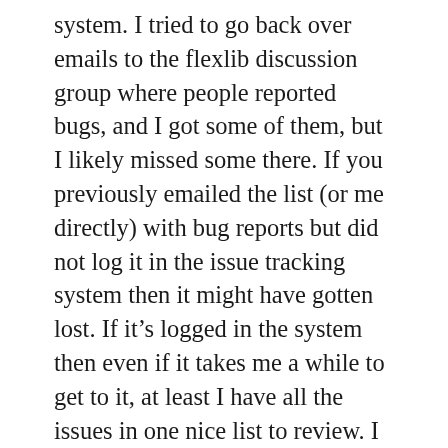system. I tried to go back over emails to the flexlib discussion group where people reported bugs, and I got some of them, but I likely missed some there. If you previously emailed the list (or me directly) with bug reports but did not log it in the issue tracking system then it might have gotten lost. If it's logged in the system then even if it takes me a while to get to it, at least I have all the issues in one nice list to review. I also fixed a few small bugs that were emailed to the list without filing them as issues, and now I forget what they were, so if you sent me an